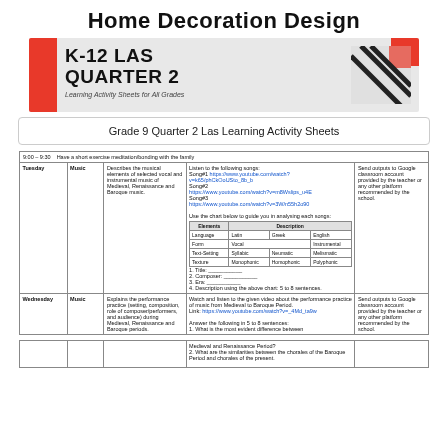Home Decoration Design
[Figure (illustration): K-12 LAS Quarter 2 banner with red accent blocks and diagonal stripe graphic, subtitle: Learning Activity Sheets for All Grades]
Grade 9 Quarter 2 Las Learning Activity Sheets
| 9:00 – 9:30 | Have a short exercise meditation/bonding with the family |
| --- | --- |
| Tuesday | Music | Describes the musical elements of selected vocal and instrumental music of Medieval, Renaissance and Baroque music. | Listen to the following songs:
Song#1 https://www.youtube.com/watch?v=k65/phCkOoUSto_8b_b
Song#2 https://www.youtube.com/watch?v=m8Wslips_u4E
Song#3 https://www.youtube.com/watch?v=3W/n55h2o90
Use the chart below to guide you in analysing each songs:
[Elements | Description table]
1. Title:
2. Composer:
3. Era:
4. Description using the above chart: 5 to 8 sentences. | Send outputs to Google classroom account provided by the teacher or any other platform recommended by the school. |
| Wednesday | Music | Explains the performance practice (setting, composition, role of composer/performers, and audience) during Medieval, Renaissance and Baroque periods. | Watch and listen to the given video about the performance practice of music from Medieval to Baroque Period.
Link: https://www.youtube.com/watch?v=_4Md_ta9w
Answer the following in 5 to 8 sentences.
1. What is the most evident difference between | Send outputs to Google classroom account provided by the teacher or any other platform recommended by the school. |
|  |  |  | Medieval and Renaissance Period?
2. What are the similarities between the chorales of the Baroque Period and chorales of the present. |  |